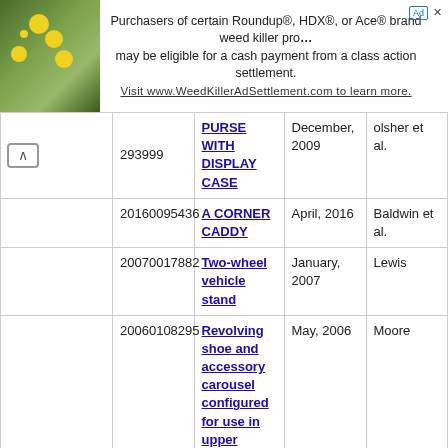[Figure (screenshot): Advertisement banner: image of yellow flowers on left, text about Roundup/HDX/Ace brand weed killer class action settlement on right]
| Number | Title | Date | Inventor |
| --- | --- | --- | --- |
| …293999 | PURSE WITH DISPLAY CASE | December, 2009 | olsher et al. |
| 20160095436 | A CORNER CADDY | April, 2016 | Baldwin et al. |
| 20070017882 | Two-wheel vehicle stand | January, 2007 | Lewis |
| 20060108295 | Revolving shoe and accessory carousel configured for use in upper recess of a closet | May, 2006 | Moore |
| 20140251933 | SHELVING ASSEMBLY | September, 2014 | Old et al. |
| 20130242608 | Assembled Mold Frame and Backlight Module Comprising Same | September, 2013 | Chen et al. |
| 20110315643 | LAPTOP TRAY | December, 2011 | Maimon |